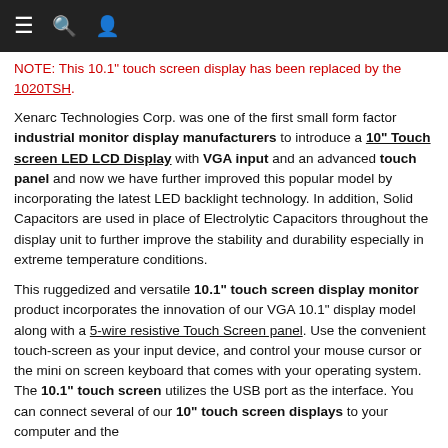[navigation bar with menu, search, and user icons]
NOTE: This 10.1" touch screen display has been replaced by the 1020TSH.
Xenarc Technologies Corp. was one of the first small form factor industrial monitor display manufacturers to introduce a 10" Touch screen LED LCD Display with VGA input and an advanced touch panel and now we have further improved this popular model by incorporating the latest LED backlight technology. In addition, Solid Capacitors are used in place of Electrolytic Capacitors throughout the display unit to further improve the stability and durability especially in extreme temperature conditions.
This ruggedized and versatile 10.1" touch screen display monitor product incorporates the innovation of our VGA 10.1" display model along with a 5-wire resistive Touch Screen panel. Use the convenient touch-screen as your input device, and control your mouse cursor or the mini on screen keyboard that comes with your operating system. The 10.1" touch screen utilizes the USB port as the interface. You can connect several of our 10" touch screen displays to your computer and the